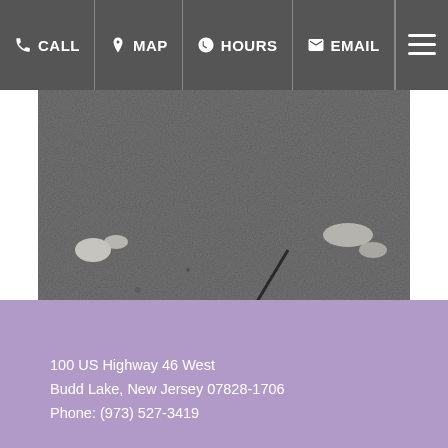CALL  MAP  HOURS  EMAIL
[Figure (photo): Close-up black and white photograph of cracked and damaged asphalt pavement showing potholes and deterioration]
100 US Highway 46 West
Budd Lake, New Jersey 07828-1706
Phone: (973) 527-3419